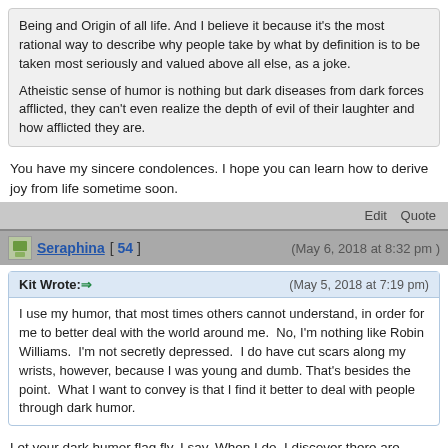Being and Origin of all life. And I believe it because it's the most rational way to describe why people take by what by definition is to be taken most seriously and valued above all else, as a joke.
Atheistic sense of humor is nothing but dark diseases from dark forces afflicted, they can't even realize the depth of evil of their laughter and how afflicted they are.
You have my sincere condolences. I hope you can learn how to derive joy from life sometime soon.
Edit   Quote
Seraphina [ 54 ]   (May 6, 2018 at 8:32 pm )
Kit Wrote:⇒   (May 5, 2018 at 7:19 pm)
I use my humor, that most times others cannot understand, in order for me to better deal with the world around me.  No, I'm nothing like Robin Williams.  I'm not secretly depressed.  I do have cut scars along my wrists, however, because I was young and dumb. That's besides the point.  What I want to convey is that I find it better to deal with people through dark humor.
Let your dark humor flag fly, I say. When I do, I discover there are others with the same dark humor out there and I think 'wow, he/she